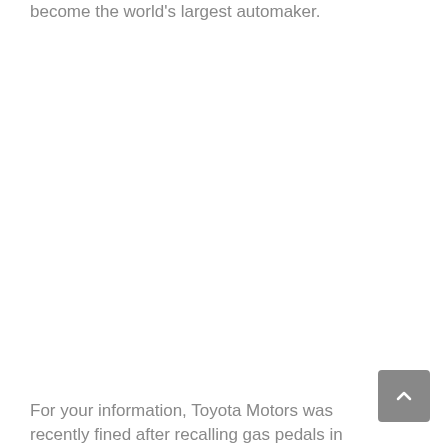become the world's largest automaker.
For your information, Toyota Motors was recently fined after recalling gas pedals in